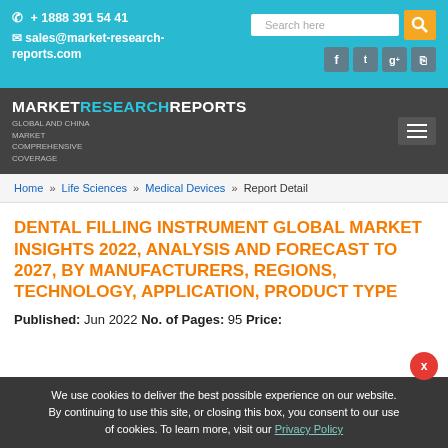+ 1888 391 54 41 | sales@market-research-reports.com | Search here
MARKETRESEARCHREPORTS GLOBAL AND CHINA MARKET COMPREHENSIVE COVERAGE
Home » Life Sciences » Medical Devices » Report Detail
DENTAL FILLING INSTRUMENT GLOBAL MARKET INSIGHTS 2022, ANALYSIS AND FORECAST TO 2027, BY MANUFACTURERS, REGIONS, TECHNOLOGY, APPLICATION, PRODUCT TYPE
Published: Jun 2022 No. of Pages: 95 Price:
We use cookies to deliver the best possible experience on our website. By continuing to use this site, or closing this box, you consent to our use of cookies. To learn more, visit our Privacy Policy